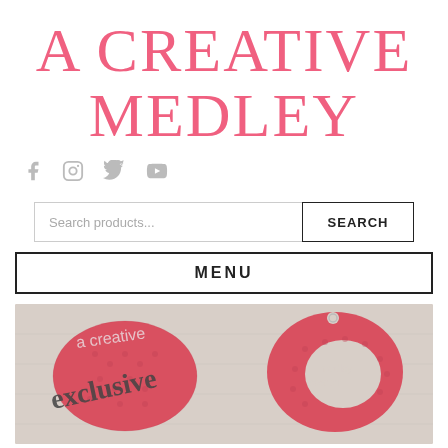A CREATIVE MEDLEY
[Figure (infographic): Social media icons: Facebook, Instagram, Twitter, YouTube in light gray]
[Figure (screenshot): Search bar with placeholder 'Search products...' and SEARCH button]
MENU
[Figure (photo): Partial photo showing red/coral textured shapes (earrings) with 'a creative' and 'exclusive' text overlay on a light wood background]